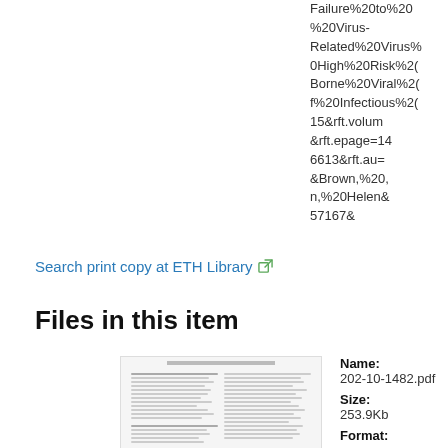Failure%20to%20...%20Virus-Related%20Virus%200High%20Risk%20Borne%20Viral%20f%20Infectious%2015&amp;rft.volume=...&amp;rft.epage=148...6613&amp;rft.au=l...&amp;Brown,%20A...n,%20Helen&amp;...57167&amp;
Search print copy at ETH Library
Files in this item
[Figure (screenshot): Thumbnail preview of PDF file 202-10-1482.pdf showing a multi-column academic paper layout]
Name:
202-10-1482.pdf
Size:
253.9Kb
Format: